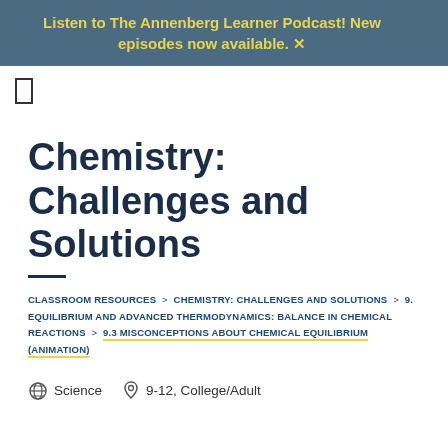Listen to The Annenberg Learner Podcast! New episodes now available.
[Figure (other): Navigation/menu icon (hamburger or bookmark symbol)]
Chemistry: Challenges and Solutions
CLASSROOM RESOURCES > CHEMISTRY: CHALLENGES AND SOLUTIONS > 9. EQUILIBRIUM AND ADVANCED THERMODYNAMICS: BALANCE IN CHEMICAL REACTIONS > 9.3 MISCONCEPTIONS ABOUT CHEMICAL EQUILIBRIUM (ANIMATION)
Science   9-12, College/Adult